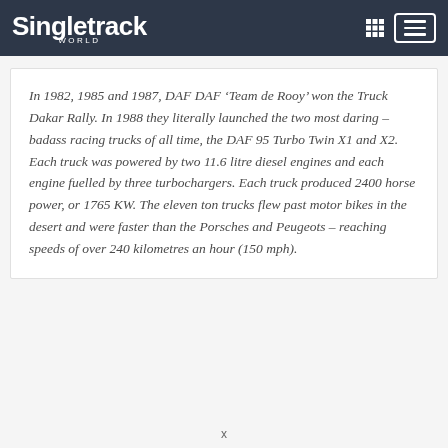Singletrack World
In 1982, 1985 and 1987, DAF DAF ‘Team de Rooy’ won the Truck Dakar Rally. In 1988 they literally launched the two most daring – badass racing trucks of all time, the DAF 95 Turbo Twin X1 and X2. Each truck was powered by two 11.6 litre diesel engines and each engine fuelled by three turbochargers. Each truck produced 2400 horse power, or 1765 KW. The eleven ton trucks flew past motor bikes in the desert and were faster than the Porsches and Peugeots – reaching speeds of over 240 kilometres an hour (150 mph).